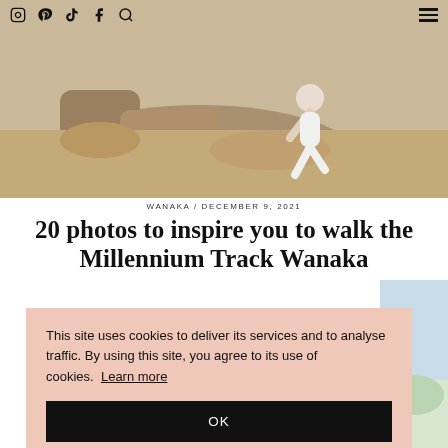Social icons: Instagram, Pinterest, TikTok, Facebook, Search; Hamburger menu
[Figure (photo): Person climbing over rocky terrain on a hillside, outdoor hiking scene]
WANAKA / DECEMBER 9, 2021
20 photos to inspire you to walk the Millennium Track Wanaka
This site uses cookies to deliver its services and to analyse traffic. By using this site, you agree to its use of cookies. Learn more
OK
[Figure (photo): Partial view of a scenic outdoor photo, sky and landscape visible at right edge]